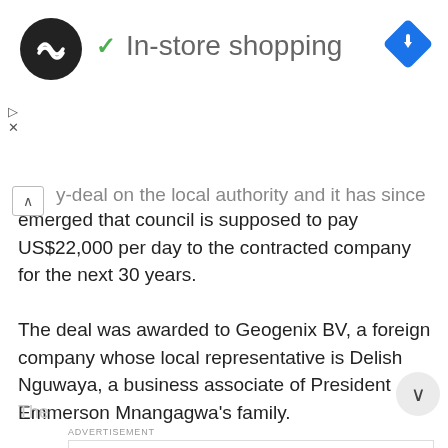[Figure (screenshot): Top ad banner showing 'In-store shopping' with loop logo, green checkmark, and blue diamond navigation icon]
y-deal on the local authority and it has since emerged that council is supposed to pay US$22,000 per day to the contracted company for the next 30 years.

The deal was awarded to Geogenix BV, a foreign company whose local representative is Delish Nguwaya, a business associate of President Emmerson Mnangagwa's family.
ADVERTISEMENT
[Figure (screenshot): Bottom repeated ad banner showing 'In-store shopping' with loop logo, green checkmark, and blue diamond navigation icon]